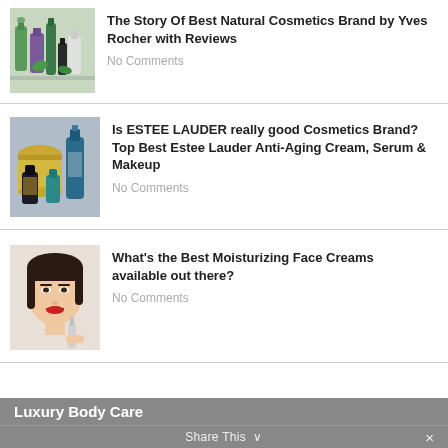The Story Of Best Natural Cosmetics Brand by Yves Rocher with Reviews
No Comments
Is ESTEE LAUDER really good Cosmetics Brand? Top Best Estee Lauder Anti-Aging Cream, Serum & Makeup
No Comments
What's the Best Moisturizing Face Creams available out there?
No Comments
Luxury Body Care
Share This ∨ ×